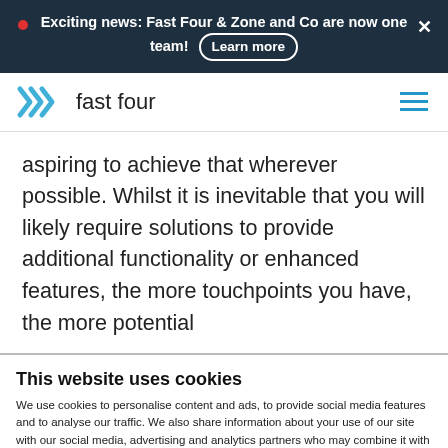Exciting news: Fast Four & Zone and Co are now one team! Learn more
[Figure (logo): Fast Four logo with chevron arrows and 'fast four' text, plus hamburger menu icon]
aspiring to achieve that wherever possible. Whilst it is inevitable that you will likely require solutions to provide additional functionality or enhanced features, the more touchpoints you have, the more potential
This website uses cookies
We use cookies to personalise content and ads, to provide social media features and to analyse our traffic. We also share information about your use of our site with our social media, advertising and analytics partners who may combine it with other information that you've provided to them or that they've collected from your use of their services.
Use necessary cookies only   Allow all cookies
Show details